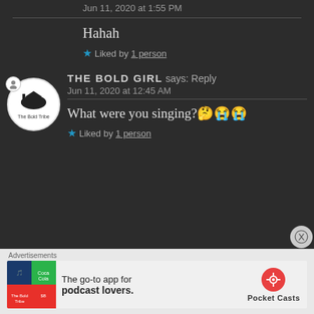Jun 11, 2020 at 1:55 PM
Hahah
Liked by 1 person
THE BOLD GIRL says: Reply
Jun 11, 2020 at 12:45 AM
What were you singing?🤔😭😭
Liked by 1 person
Advertisements
[Figure (screenshot): Pocket Casts advertisement banner: The go-to app for podcast lovers.]